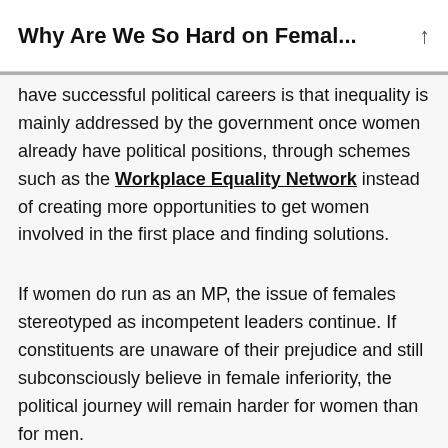Why Are We So Hard on Femal...
have successful political careers is that inequality is mainly addressed by the government once women already have political positions, through schemes such as the Workplace Equality Network instead of creating more opportunities to get women involved in the first place and finding solutions.
If women do run as an MP, the issue of females stereotyped as incompetent leaders continue. If constituents are unaware of their prejudice and still subconsciously believe in female inferiority, the political journey will remain harder for women than for men.
These gender preconceptions are evident when looking at recent Prime Ministers and their portrayal by the media when news stories focus on their persona, rather than their